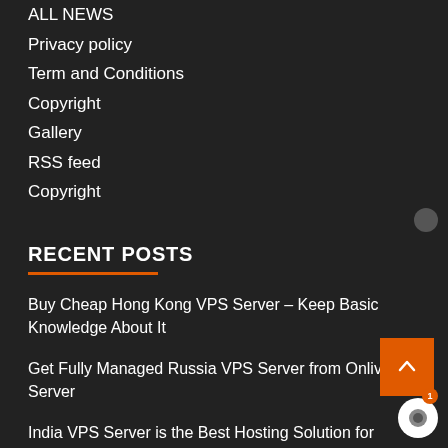ALL NEWS
Privacy policy
Term and Conditions
Copyright
Gallery
RSS feed
Copyright
RECENT POSTS
Buy Cheap Hong Kong VPS Server – Keep Basic Knowledge About It
Get Fully Managed Russia VPS Server from Onlive Server
India VPS Server is the Best Hosting Solution for Improve Performance with Onlive Server
India VPS Server Hosting Solution is Highly Secure by Onlive